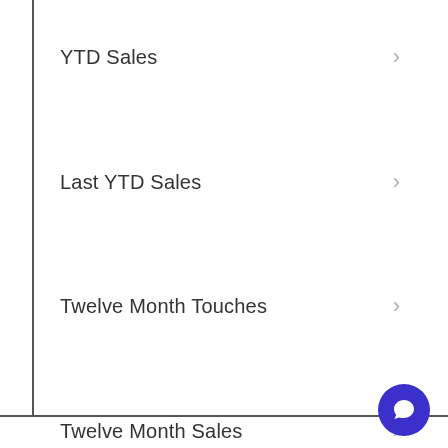YTD Sales
Last YTD Sales
Twelve Month Touches
Twelve Month Sales
Previous Twelve Month Sales
Business City
Business State